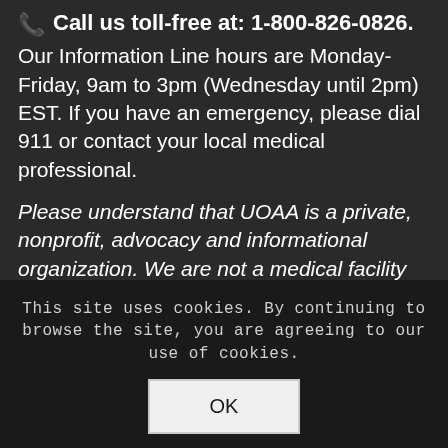📞 Call us toll-free at: 1-800-826-0826.
Our Information Line hours are Monday-Friday, 9am to 3pm (Wednesday until 2pm) EST. If you have an emergency, please dial 911 or contact your local medical professional.
Please understand that UOAA is a private, nonprofit, advocacy and informational organization. We are not a medical facility and we do not have medical or legal professionals on staff. Therefore, UOAA does not provide Medical, Mental Health, Insurance or Legal Advice.
Privacy Policy
This site uses cookies. By continuing to browse the site, you are agreeing to our use of cookies.
OK